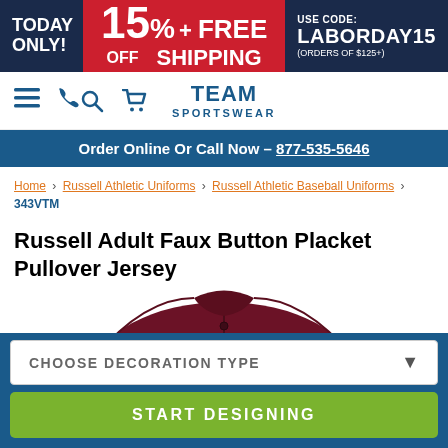TODAY ONLY! 15% OFF + FREE SHIPPING USE CODE: LABORDAY15 (ORDERS OF $125+)
TEAM SPORTSWEAR
Order Online Or Call Now – 877-535-5646
Home › Russell Athletic Uniforms › Russell Athletic Baseball Uniforms › 343VTM
Russell Adult Faux Button Placket Pullover Jersey
[Figure (photo): Maroon/dark red pullover baseball jersey shown from front, partially visible]
CHOOSE DECORATION TYPE
START DESIGNING